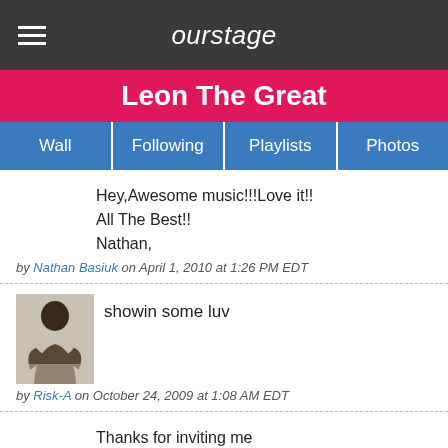ourstage
Leon The Great
Wall | Following | Playlists | Photos
Hey,Awesome music!!!Love it!!
All The Best!!
Nathan,
by Nathan Basiuk on April 1, 2010 at 1:26 PM EDT
showin some luv
by Risk-A on October 24, 2009 at 1:08 AM EDT
Thanks for inviting me
Respect for the music
Have a gooluck.
by Amit Riff on July 15, 2009 at 1:19 PM EDT